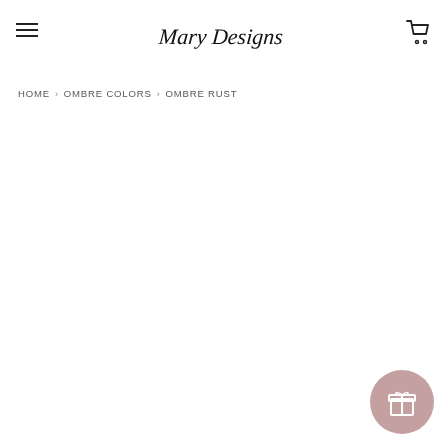Mary Designs [logo]
HOME › OMBRE COLORS › OMBRE RUST